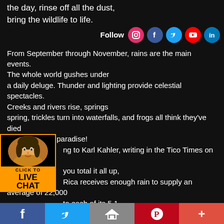the day, rinse off all the dust, bring the wildlife to life.
[Figure (infographic): Follow us social media icons: Instagram, Facebook, Twitter, YouTube, LinkedIn]
From September through November, rains are the main events. The whole world gushes under a daily deluge. Thunder and lighting provide celestial spectacles. Creeks and rivers rise, springs spring, trickles turn into waterfalls, and frogs all think they've died and jumped to paradise! According to Karl Kahler, writing in the Tico Times on October 3, if you total it all up, Costa Rica receives enough rain to supply an average of 22,000 gallons to each of its 5.1 million inhabitants every day. That's a lot of water — enough to supply every person on the planet with 15 gallons of water a day, year-round." So why is water such a big deal? Because the collection and distribution of the water has to be managed, or it all ends up in the ocean where it doesn't do you much good when you want to brush your teeth at night.
[Figure (photo): Click to Live Chat widget with woman avatar]
Facebook | Twitter | Share | Pinterest | More